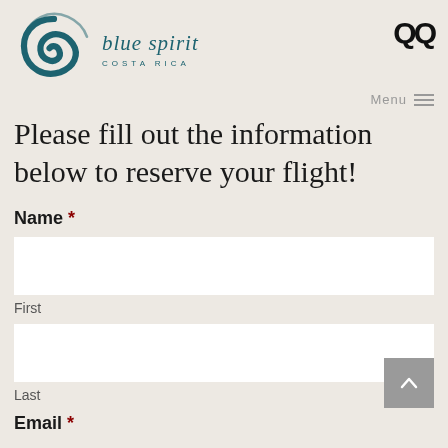Blue Spirit Costa Rica — logo and navigation
Please fill out the information below to reserve your flight!
Name *
First
Last
Email *